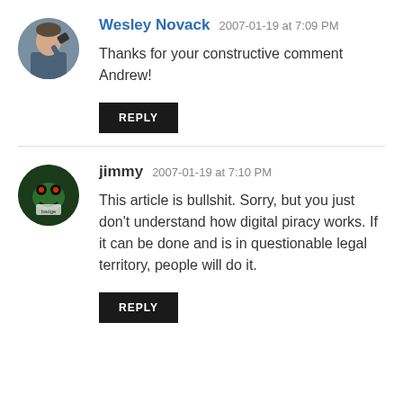Wesley Novack  2007-01-19 at 7:09 PM
Thanks for your constructive comment Andrew!
REPLY
jimmy  2007-01-19 at 7:10 PM
This article is bullshit. Sorry, but you just don't understand how digital piracy works. If it can be done and is in questionable legal territory, people will do it.
REPLY